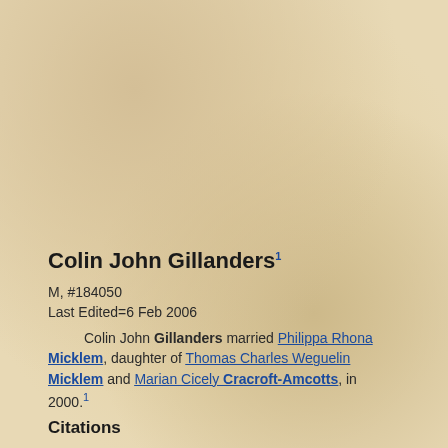Colin John Gillanders1
M, #184050
Last Edited=6 Feb 2006
Colin John Gillanders married Philippa Rhona Micklem, daughter of Thomas Charles Weguelin Micklem and Marian Cicely Cracroft-Amcotts, in 2000.1
Citations